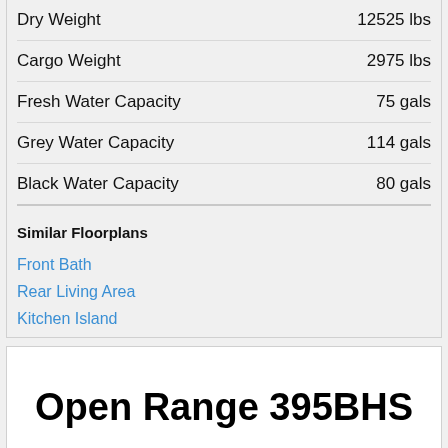| Specification | Value |
| --- | --- |
| Dry Weight | 12525 lbs |
| Cargo Weight | 2975 lbs |
| Fresh Water Capacity | 75 gals |
| Grey Water Capacity | 114 gals |
| Black Water Capacity | 80 gals |
Similar Floorplans
Front Bath
Rear Living Area
Kitchen Island
Open Range 395BHS